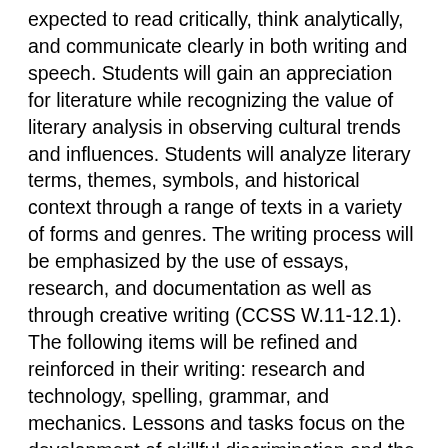expected to read critically, think analytically, and communicate clearly in both writing and speech. Students will gain an appreciation for literature while recognizing the value of literary analysis in observing cultural trends and influences. Students will analyze literary terms, themes, symbols, and historical context through a range of texts in a variety of forms and genres. The writing process will be emphasized by the use of essays, research, and documentation as well as through creative writing (CCSS W.11-12.1). The following items will be refined and reinforced in their writing: research and technology, spelling, grammar, and mechanics. Lessons and tasks focus on the development of skillful discrimination and the use of sources rather than simply acquiring knowledge. Descriptive, evaluative, persuasive, and informative essays will be developed by the students, and creative and analytical thinking will be stressed (CCSS W.11-12.2). Students will read at least four full-length books